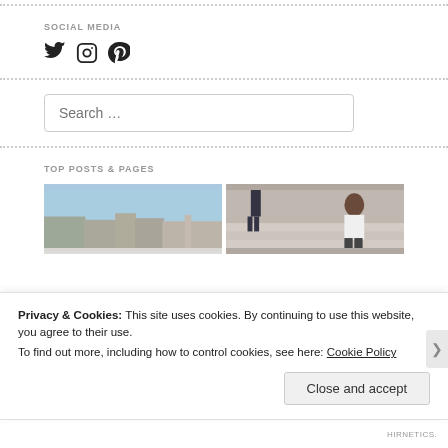SOCIAL MEDIA
[Figure (illustration): Social media icons: Twitter bird, Instagram camera, Pinterest P]
[Figure (screenshot): Search input box with placeholder text 'Search ...']
TOP POSTS & PAGES
[Figure (photo): Two side-by-side thumbnail photos for top posts]
Privacy & Cookies: This site uses cookies. By continuing to use this website, you agree to their use. To find out more, including how to control cookies, see here: Cookie Policy
Close and accept